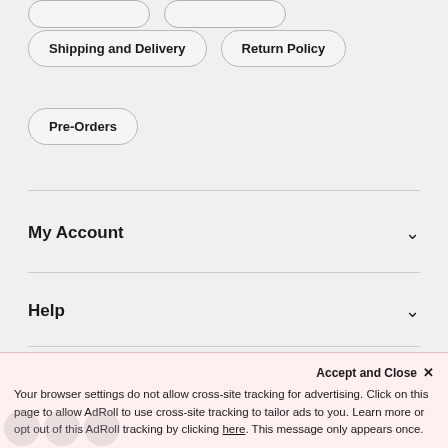Shipping and Delivery
Return Policy
Pre-Orders
My Account
Help
About Us
Accept and Close ×
Your browser settings do not allow cross-site tracking for advertising. Click on this page to allow AdRoll to use cross-site tracking to tailor ads to you. Learn more or opt out of this AdRoll tracking by clicking here. This message only appears once.